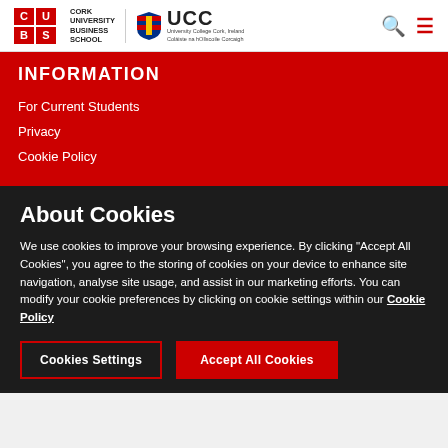[Figure (logo): CUBS Cork University Business School logo with red grid and UCC University College Cork Ireland logo with shield]
INFORMATION
For Current Students
Privacy
Cookie Policy
About Cookies
We use cookies to improve your browsing experience. By clicking “Accept All Cookies”, you agree to the storing of cookies on your device to enhance site navigation, analyse site usage, and assist in our marketing efforts. You can modify your cookie preferences by clicking on cookie settings within our Cookie Policy
Cookies Settings
Accept All Cookies